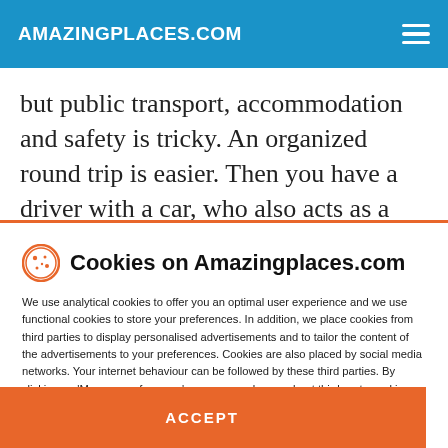AMAZINGPLACES.COM
but public transport, accommodation and safety is tricky. An organized round trip is easier. Then you have a driver with a car, who also acts as a
Cookies on Amazingplaces.com
We use analytical cookies to offer you an optimal user experience and we use functional cookies to store your preferences. In addition, we place cookies from third parties to display personalised advertisements and to tailor the content of the advertisements to your preferences. Cookies are also placed by social media networks. Your internet behaviour can be followed by these third parties. By clicking on 'Manage preferences', you can read more about third-party cookies and adjust your preferences for this. By clicking 'Accept and continue', you agree to the use of all cookies as described in our Privacy Policy and Cookie Policy.
MANAGE PREFERENCES
ACCEPT